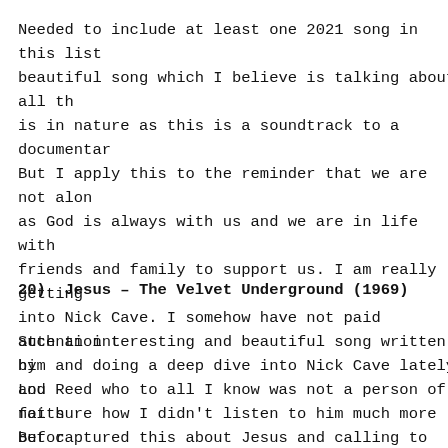Needed to include at least one 2021 song in this list beautiful song which I believe is talking about all th is in nature as this is a soundtrack to a documentar But I apply this to the reminder that we are not alon as God is always with us and we are in life with friends and family to support us. I am really getting into Nick Cave. I somehow have not paid attention t him and doing a deep dive into Nick Cave lately and not sure how I didn't listen to him much more befor
20)  Jesus – The Velvet Underground (1969)
Such an interesting and beautiful song written by Lou Reed who to all I know was not a person of faith But captured this about Jesus and calling to Him in the rest of his life...